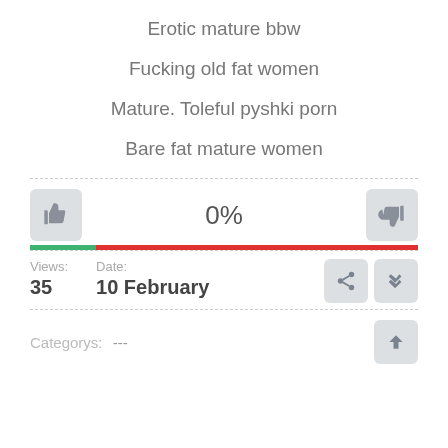Erotic mature bbw
Fucking old fat women
Mature. Toleful pyshki porn
Bare fat mature women
0%
Views: 35   Date: 10 February
Categorys: ---